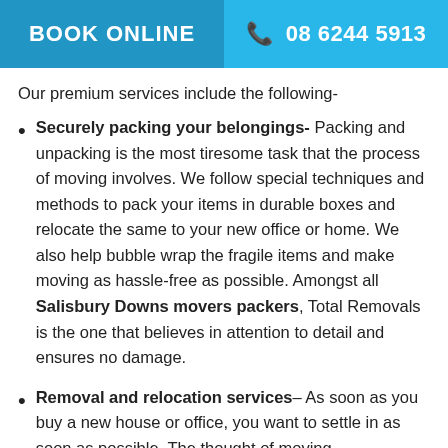BOOK ONLINE | 08 6244 5913
Our premium services include the following-
Securely packing your belongings- Packing and unpacking is the most tiresome task that the process of moving involves. We follow special techniques and methods to pack your items in durable boxes and relocate the same to your new office or home. We also help bubble wrap the fragile items and make moving as hassle-free as possible. Amongst all Salisbury Downs movers packers, Total Removals is the one that believes in attention to detail and ensures no damage.
Removal and relocation services– As soon as you buy a new house or office, you want to settle in as soon as possible. The thought of moving